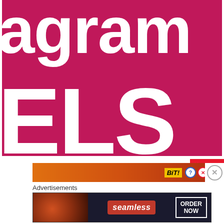[Figure (screenshot): Large magenta/crimson banner with white bold text showing partial words 'agram' on top line and 'ELS' on bottom line, cropped from a larger title]
[Figure (screenshot): Close button in red with X and text CLOSE in top right]
[Figure (screenshot): Advertisement strip banner with orange fire background showing 'BiT!' logo and close icons]
Advertisements
[Figure (screenshot): Seamless food delivery advertisement banner with pizza image on left, seamless logo in center, and ORDER NOW button on right, on dark background]